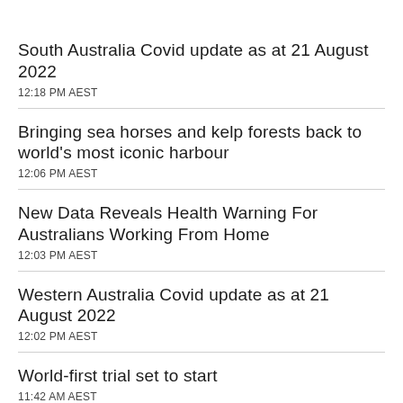South Australia Covid update as at 21 August 2022
12:18 PM AEST
Bringing sea horses and kelp forests back to world's most iconic harbour
12:06 PM AEST
New Data Reveals Health Warning For Australians Working From Home
12:03 PM AEST
Western Australia Covid update as at 21 August 2022
12:02 PM AEST
World-first trial set to start
11:42 AM AEST